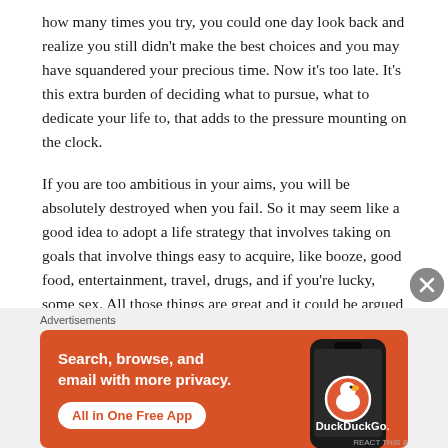how many times you try, you could one day look back and realize you still didn't make the best choices and you may have squandered your precious time. Now it's too late. It's this extra burden of deciding what to pursue, what to dedicate your life to, that adds to the pressure mounting on the clock.
If you are too ambitious in your aims, you will be absolutely destroyed when you fail. So it may seem like a good idea to adopt a life strategy that involves taking on goals that involve things easy to acquire, like booze, good food, entertainment, travel, drugs, and if you're lucky, some sex. All those things are great and it could be argued that some are absolute essentials in life, but they are
Advertisements
[Figure (other): DuckDuckGo advertisement banner with orange background. Text reads: 'Search, browse, and email with more privacy. All in One Free App'. Shows a smartphone with DuckDuckGo logo.]